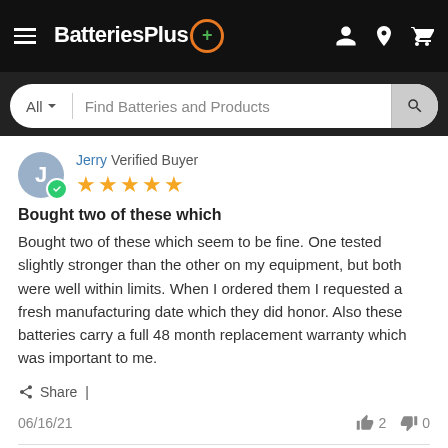BatteriesPlus — navigation header with search bar
Jerry Verified Buyer
[Figure (other): 5-star rating (5 orange stars)]
Bought two of these which
Bought two of these which seem to be fine. One tested slightly stronger than the other on my equipment, but both were well within limits. When I ordered them I requested a fresh manufacturing date which they did honor. Also these batteries carry a full 48 month replacement warranty which was important to me.
Share |
06/16/21     2     0